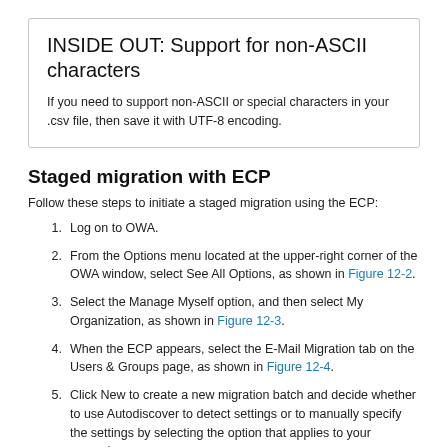INSIDE OUT: Support for non-ASCII characters
If you need to support non-ASCII or special characters in your .csv file, then save it with UTF-8 encoding.
Staged migration with ECP
Follow these steps to initiate a staged migration using the ECP:
1. Log on to OWA.
2. From the Options menu located at the upper-right corner of the OWA window, select See All Options, as shown in Figure 12-2.
3. Select the Manage Myself option, and then select My Organization, as shown in Figure 12-3.
4. When the ECP appears, select the E-Mail Migration tab on the Users & Groups page, as shown in Figure 12-4.
5. Click New to create a new migration batch and decide whether to use Autodiscover to detect settings or to manually specify the settings by selecting the option that applies to your scenario: